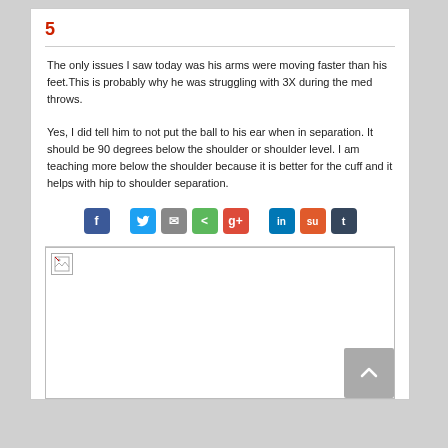5
The only issues I saw today was his arms were moving faster than his feet.This is probably why he was struggling with 3X during the med throws.
Yes, I did tell him to not put the ball to his ear when in separation. It should be 90 degrees below the shoulder or shoulder level. I am teaching more below the shoulder because it is better for the cuff and it helps with hip to shoulder separation.
[Figure (infographic): Row of social media share buttons: Facebook, Twitter, Email, Share, Google+, LinkedIn, StumbleUpon, Tumblr]
[Figure (photo): Broken image placeholder with a small broken image icon in the top-left corner, followed by a large white/blank area]